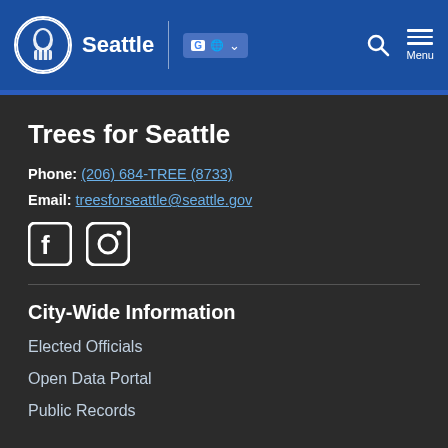Seattle government website header with logo, translate button, search, and menu
Trees for Seattle
Phone: (206) 684-TREE (8733)
Email: treesforseattle@seattle.gov
[Figure (illustration): Facebook and Instagram social media icons]
City-Wide Information
Elected Officials
Open Data Portal
Public Records